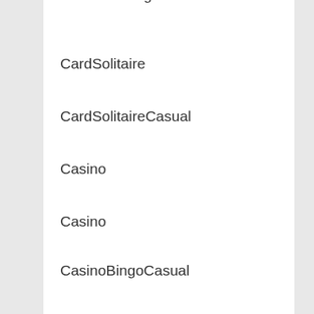CardMatchingCasual
CardSolitaire
CardSolitaireCasual
Casino
Casino
CasinoBingoCasual
CasinoCasual
CasinoSlots
CasinoSlotsCasual
CasinoTablePoker